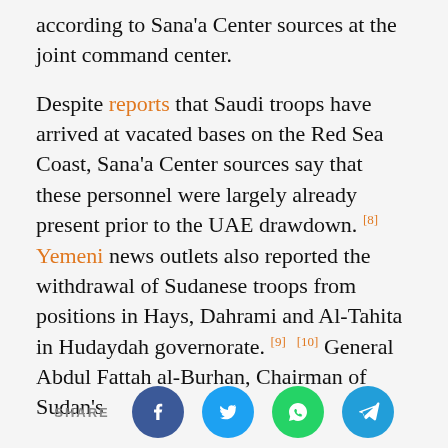according to Sana'a Center sources at the joint command center.
Despite reports that Saudi troops have arrived at vacated bases on the Red Sea Coast, Sana'a Center sources say that these personnel were largely already present prior to the UAE drawdown. [8] Yemeni news outlets also reported the withdrawal of Sudanese troops from positions in Hays, Dahrami and Al-Tahita in Hudaydah governorate. [9] [10] General Abdul Fattah al-Burhan, Chairman of Sudan's
[Figure (infographic): Social media share bar with Facebook (blue circle), Twitter (light blue circle), WhatsApp (green circle), and Telegram (blue circle) icons, preceded by the label SHARE.]